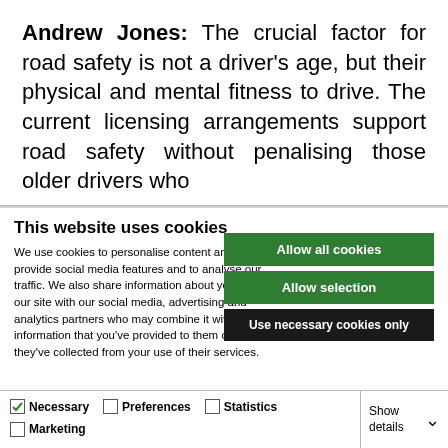Andrew Jones: The crucial factor for road safety is not a driver's age, but their physical and mental fitness to drive. The current licensing arrangements support road safety without penalising those older drivers who
This website uses cookies
We use cookies to personalise content and ads, to provide social media features and to analyse our traffic. We also share information about your use of our site with our social media, advertising and analytics partners who may combine it with other information that you've provided to them or that they've collected from your use of their services.